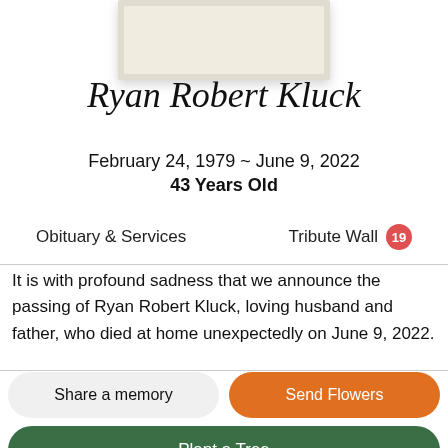[Figure (photo): Partial portrait photo in an off-white frame at top of page]
Ryan Robert Kluck
February 24, 1979 ~ June 9, 2022
43 Years Old
Obituary & Services	Tribute Wall 19
It is with profound sadness that we announce the passing of Ryan Robert Kluck, loving husband and father, who died at home unexpectedly on June 9, 2022.
Share a memory | Send Flowers | Plant a Tree